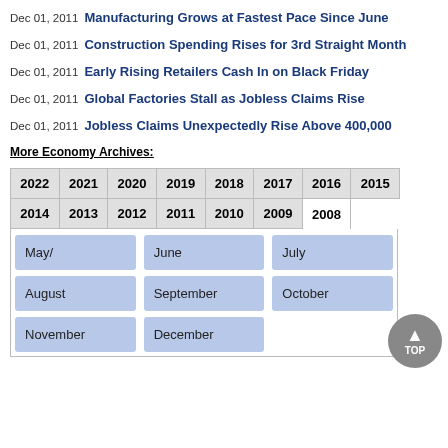Dec 01, 2011 Manufacturing Grows at Fastest Pace Since June
Dec 01, 2011 Construction Spending Rises for 3rd Straight Month
Dec 01, 2011 Early Rising Retailers Cash In on Black Friday
Dec 01, 2011 Global Factories Stall as Jobless Claims Rise
Dec 01, 2011 Jobless Claims Unexpectedly Rise Above 400,000
More Economy Archives:
| 2022 | 2021 | 2020 | 2019 | 2018 | 2017 | 2016 | 2015 |
| --- | --- | --- | --- | --- | --- | --- | --- |
| 2014 | 2013 | 2012 | 2011 | 2010 | 2009 | 2008 |  |
May/ June July August September October November December